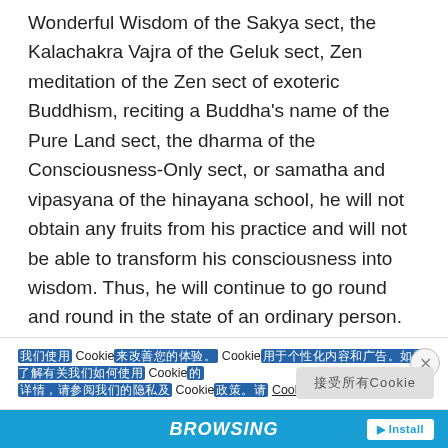Wonderful Wisdom of the Sakya sect, the Kalachakra Vajra of the Geluk sect, Zen meditation of the Zen sect of exoteric Buddhism, reciting a Buddha's name of the Pure Land sect, the dharma of the Consciousness-Only sect, or samatha and vipasyana of the hinayana school, he will not obtain any fruits from his practice and will not be able to transform his consciousness into wisdom. Thus, he will continue to go round and round in the state of an ordinary person. He will not be able to manifest any realization, the source of which is the wisdom of exoteric and esoteric Buddhism. He will not be able to exhibit
我们使用 Cookie来改善您的体验。Cookie用于个性化内容和广告。如需了解 Cookie，请参阅我们的 Cookie政策。 接受所有Cookie
BROWSING ▶ Install